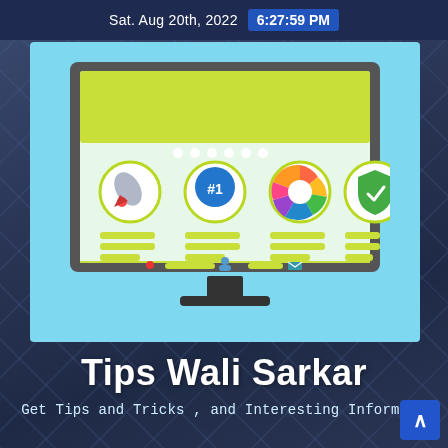Sat. Aug 20th, 2022  6:27:59 PM
[Figure (illustration): A monitor/computer screen illustration showing a website UI with green header, four circular icons (rocket, #1 badge, teamwork wheel, green shield), and content rows, on a light blue background.]
Tips Wali Sarkar
Get Tips and Tricks , and Interesting Informat
[Figure (other): Scroll to top button with upward arrow chevron]